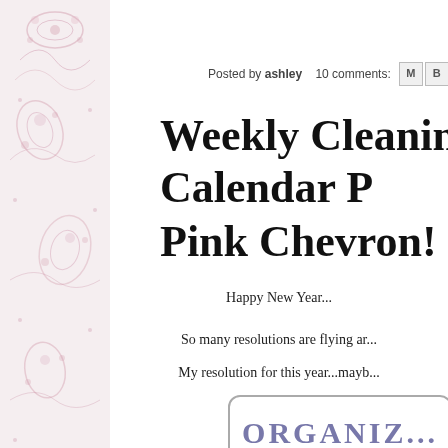[Figure (illustration): Left sidebar with pink floral/paisley decorative pattern on light pink background]
Posted by ashley    10 comments:  [share icons: M, B, t, f, pinterest]
Weekly Cleaning Calendar P... Pink Chevron!
Happy New Year...
So many resolutions are flying ar...
My resolution for this year...mayb...
This year I want to be...
[Figure (screenshot): Rounded rectangle box containing the word ORGANIZ... in large purple serif small-caps letters]